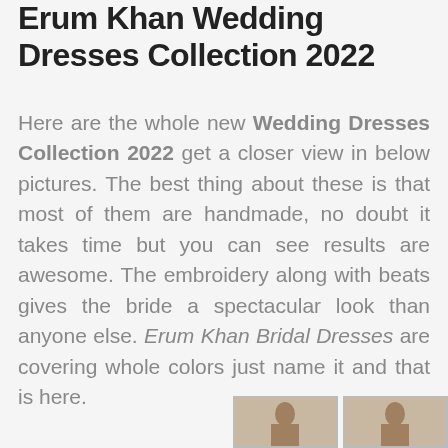Erum Khan Wedding Dresses Collection 2022
Here are the whole new Wedding Dresses Collection 2022 get a closer view in below pictures. The best thing about these is that most of them are handmade, no doubt it takes time but you can see results are awesome. The embroidery along with beats gives the bride a spectacular look than anyone else. Erum Khan Bridal Dresses are covering whole colors just name it and that is here.
[Figure (photo): Partial view of two photo thumbnails of bridal dresses at the bottom of the page]